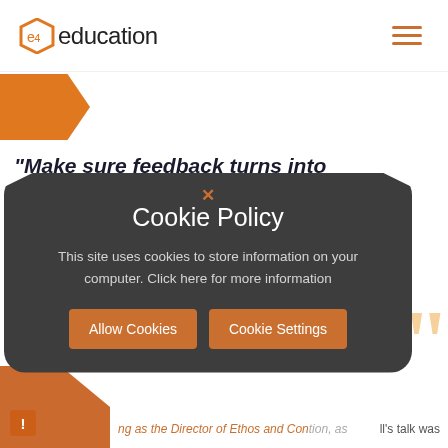e4education
“Make sure feedback turns into practice.”
Cookie Policy
This site uses cookies to store information on your computer.
Click here for more information
Allow Cookies
Cookie Settings
ing as the Director of Ethos and Con tion, as
ll’s talk was